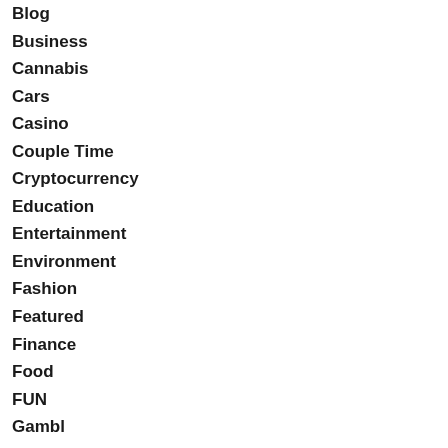Blog
Business
Cannabis
Cars
Casino
Couple Time
Cryptocurrency
Education
Entertainment
Environment
Fashion
Featured
Finance
Food
FUN
Gambling